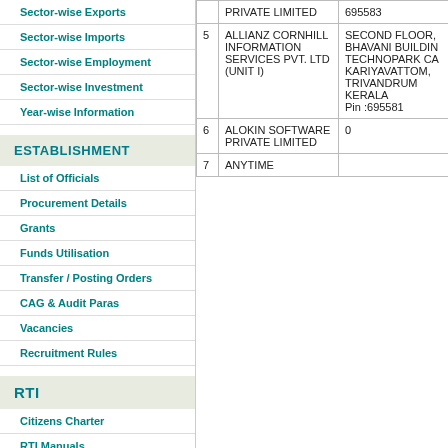Sector-wise Exports
Sector-wise Imports
Sector-wise Employment
Sector-wise Investment
Year-wise Information
ESTABLISHMENT
List of Officials
Procurement Details
Grants
Funds Utilisation
Transfer / Posting Orders
CAG & Audit Paras
Vacancies
Recruitment Rules
RTI
Citizens Charter
RTI Manuals
RTI Queries
| # | Name | Address |
| --- | --- | --- |
|  | PRIVATE LIMITED | 695583 |
| 5 | ALLIANZ CORNHILL INFORMATION SERVICES PVT. LTD (UNIT I) | SECOND FLOOR, BHAVANI BUILDING, TECHNOPARK CAMPUS, KARIYAVATTOM, TRIVANDRUM KERALA Pin :695581 |
| 6 | ALOKIN SOFTWARE PRIVATE LIMITED | 0 |
| 7 | ANYTIME |  |